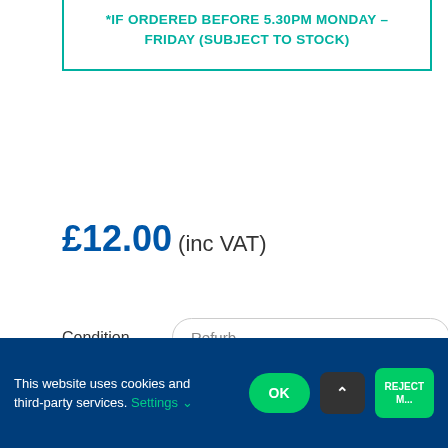*IF ORDERED BEFORE 5.30PM MONDAY – FRIDAY (SUBJECT TO STOCK)
£12.00 (inc VAT)
Condition  Refurb
Refurb
In stock
This website uses cookies and third-party services. Settings OK REJECT M...